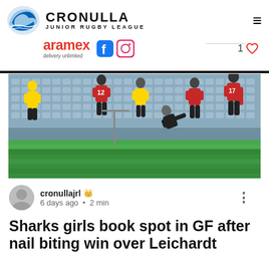CRONULLA JUNIOR RUGBY LEAGUE
[Figure (logo): Cronulla Junior Rugby League shark logo in blue]
[Figure (photo): Women's rugby league match with players in red/black and yellow uniforms on a field with blue stadium seats in background]
cronullajrl 👑
6 days ago · 2 min
Sharks girls book spot in GF after nail biting win over Leichardt